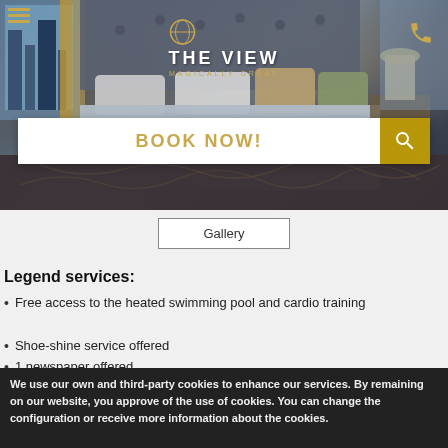[Figure (photo): Hotel room photo showing a bed with grey headboard, decorative pillows, city view through window, luxury interior]
THE VIEW
MAGICALLY GREAT
BOOK NOW!
Gallery
Legend services:
Free access to the heated swimming pool and cardio training
Shoe-shine service offered
1 newspaper offered
We use our own and third-party cookies to enhance our services. By remaining on our website, you approve of the use of cookies. You can change the configuration or receive more information about the cookies.